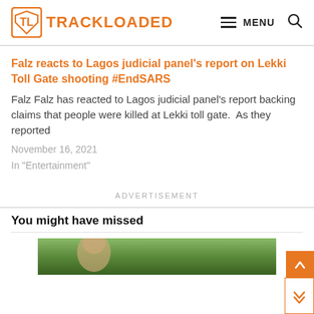TRACKLOADED — MENU
Falz reacts to Lagos judicial panel's report on Lekki Toll Gate shooting #EndSARS
Falz Falz has reacted to Lagos judicial panel's report backing claims that people were killed at Lekki toll gate.  As they reported
November 16, 2021
In "Entertainment"
ADVERTISEMENT
You might have missed
[Figure (photo): Thumbnail image of a person outdoors with green foliage background]